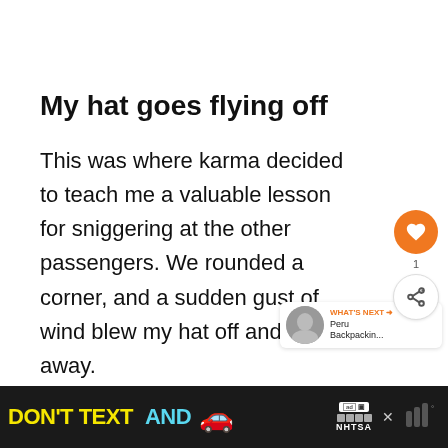My hat goes flying off
This was where karma decided to teach me a valuable lesson for sniggering at the other passengers. We rounded a corner, and a sudden gust of wind blew my hat off and far away.
Not a complete disaster, I thought.
[Figure (other): Advertisement banner: DON'T TEXT AND (car emoji) with ad badge and NHTSA logo on dark background]